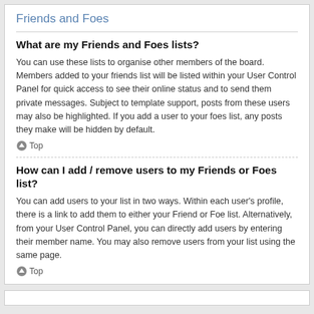Friends and Foes
What are my Friends and Foes lists?
You can use these lists to organise other members of the board. Members added to your friends list will be listed within your User Control Panel for quick access to see their online status and to send them private messages. Subject to template support, posts from these users may also be highlighted. If you add a user to your foes list, any posts they make will be hidden by default.
Top
How can I add / remove users to my Friends or Foes list?
You can add users to your list in two ways. Within each user’s profile, there is a link to add them to either your Friend or Foe list. Alternatively, from your User Control Panel, you can directly add users by entering their member name. You may also remove users from your list using the same page.
Top